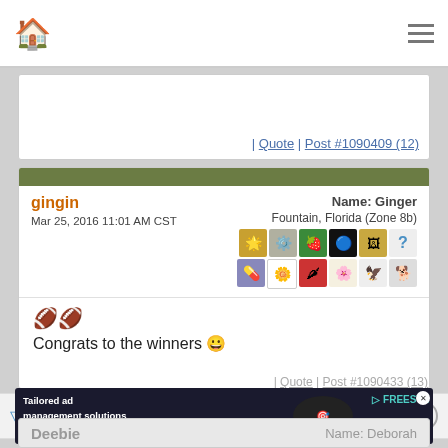Home | Menu
| Quote | Post #1090409 (12)
gingin
Mar 25, 2016 11:01 AM CST
Name: Ginger
Fountain, Florida (Zone 8b)
Congrats to the winners 😀
Each cloud has a silver lineing if only you look for it.
| Quote | Post #1090433 (13)
[Figure (screenshot): Advertisement banner: Tailored ad management solutions for every publisher - Freestar Learn More]
Deebie
Name: Deborah